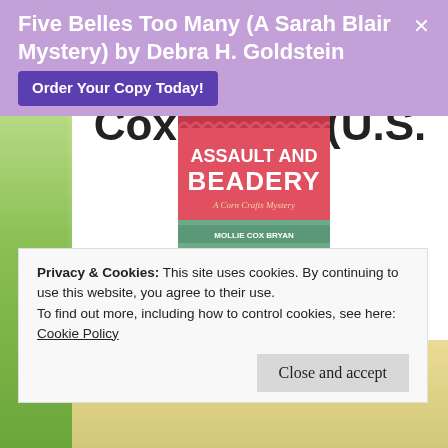Five Belles Too Many (A Sarah Blair Mystery) by Debra H. Goldstein
Order Your Copy Today!
Crafts Mystery) by Molli Cox Bryan (U.S. Only)
[Figure (photo): Book cover of 'Assault and Beadery: A Corn Crafts Mystery' by Mollie Cox Bryan]
Privacy & Cookies: This site uses cookies. By continuing to use this website, you agree to their use.
To find out more, including how to control cookies, see here:
Cookie Policy
Close and accept